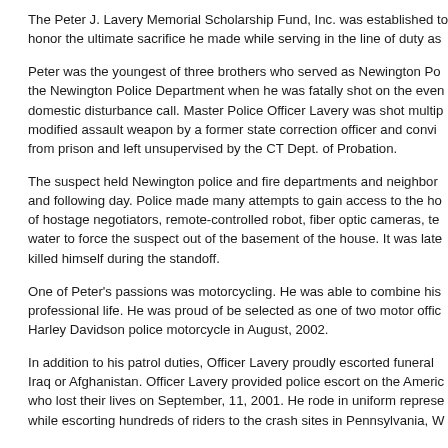The Peter J. Lavery Memorial Scholarship Fund, Inc. was established to honor the ultimate sacrifice he made while serving in the line of duty as...
Peter was the youngest of three brothers who served as Newington Police officers. Peter was a 17 year veteran of the Newington Police Department when he was fatally shot on the evening of June 18, 2007, while responding to a domestic disturbance call. Master Police Officer Lavery was shot multiple times by a man armed with a modified assault weapon by a former state correction officer and convicted felon who had recently been released from prison and left unsupervised by the CT Dept. of Probation.
The suspect held Newington police and fire departments and neighbors hostage for approximately 18 hours that night and following day. Police made many attempts to gain access to the home using the expert assistance of hostage negotiators, remote-controlled robot, fiber optic cameras, tear gas, and eventually shutting off water to force the suspect out of the basement of the house. It was later determined that the suspect killed himself during the standoff.
One of Peter’s passions was motorcycling. He was able to combine his love for motorcycles with his professional life. He was proud of be selected as one of two motor officers and proudly rode his Harley Davidson police motorcycle in August, 2002.
In addition to his patrol duties, Officer Lavery proudly escorted funeral processions for soldiers killed in Iraq or Afghanistan. Officer Lavery provided police escort on the American Thunder Ride, honoring those who lost their lives on September, 11, 2001. He rode in uniform representing the Newington Police while escorting hundreds of riders to the crash sites in Pennsylvania, W...
The motorcycle run is an event that honors the sacrifice MPO Lavery made. It is an opportunity to gather, to celebrate his life and to keep his memory alive in the years to...
The money raised is put into the Peter J. Lavery Memorial Scholarship Fund, Inc. Scholarships are given annually to students enrolling in the law enforcement or criminal justice...
Education was so important to Peter Lavery. He worked very hard to earn his Bachelor Degree in Criminal Studies from Eastern CT State University at age 39. He continually encouraged others to pursue an education for themselves as well. It is a fitting tribute to honor his memory with the Peter J. Lavery Memorial Scholarship Fund, Inc.